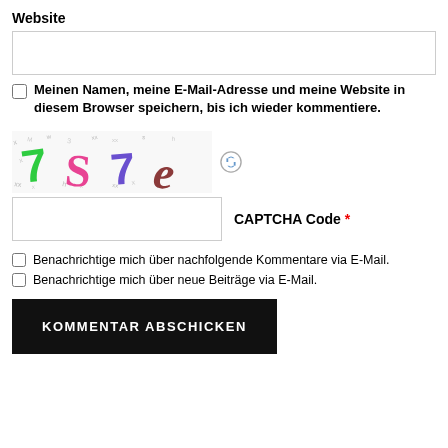Website
[Figure (screenshot): Empty text input field for Website URL]
[Figure (screenshot): Checkbox (unchecked)]
Meinen Namen, meine E-Mail-Adresse und meine Website in diesem Browser speichern, bis ich wieder kommentiere.
[Figure (other): CAPTCHA image showing colorful characters: 7 S 7 e with a refresh icon]
[Figure (screenshot): CAPTCHA code input field with label 'CAPTCHA Code *']
Benachrichtige mich über nachfolgende Kommentare via E-Mail.
Benachrichtige mich über neue Beiträge via E-Mail.
[Figure (screenshot): Submit button labeled KOMMENTAR ABSCHICKEN]